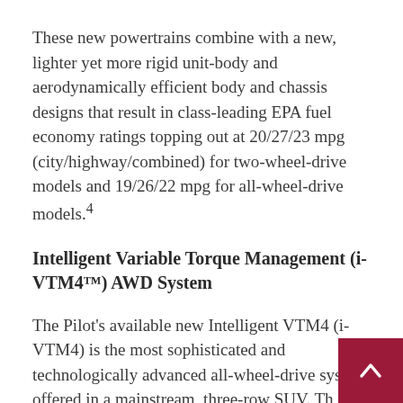These new powertrains combine with a new, lighter yet more rigid unit-body and aerodynamically efficient body and chassis designs that result in class-leading EPA fuel economy ratings topping out at 20/27/23 mpg (city/highway/combined) for two-wheel-drive models and 19/26/22 mpg for all-wheel-drive models.⁴
Intelligent Variable Torque Management (i-VTM4™) AWD System
The Pilot's available new Intelligent VTM4 (i-VTM4) is the most sophisticated and technologically advanced all-wheel-drive system offered in a mainstream, three-row SUV. Th entirely more capable system progressively distributes optimum torque between the front and